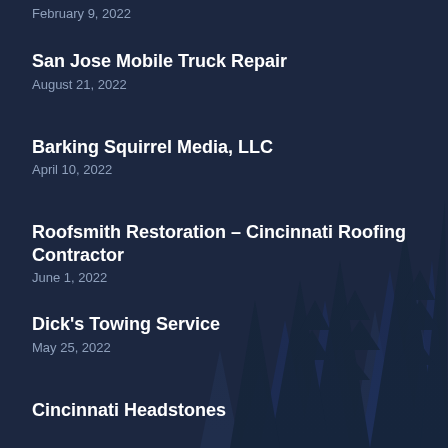February 9, 2022
San Jose Mobile Truck Repair
August 21, 2022
Barking Squirrel Media, LLC
April 10, 2022
Roofsmith Restoration – Cincinnati Roofing Contractor
June 1, 2022
Dick's Towing Service
May 25, 2022
Cincinnati Headstones